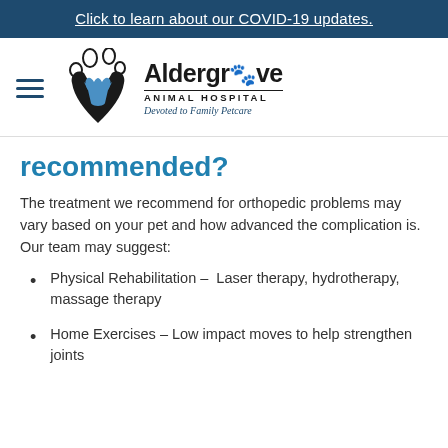Click to learn about our COVID-19 updates.
[Figure (logo): Aldergrove Animal Hospital logo with paw print icon and text 'Devoted to Family Petcare']
recommended?
The treatment we recommend for orthopedic problems may vary based on your pet and how advanced the complication is. Our team may suggest:
Physical Rehabilitation – Laser therapy, hydrotherapy, massage therapy
Home Exercises – Low impact moves to help strengthen joints